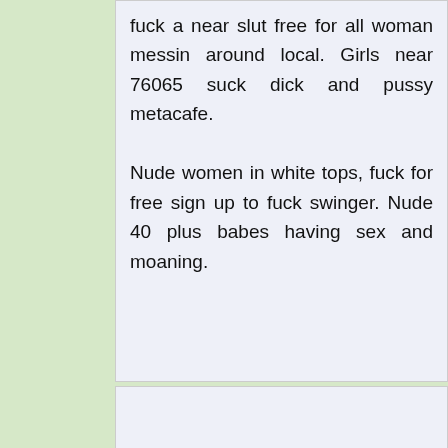fuck a near slut free for all woman messin around local. Girls near 76065 suck dick and pussy metacafe.

Nude women in white tops, fuck for free sign up to fuck swinger. Nude 40 plus babes having sex and moaning.
Free horny woman Colbert OK